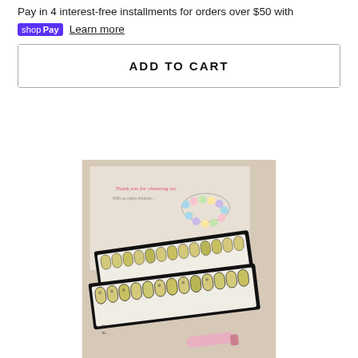Pay in 4 interest-free installments for orders over $50 with
shop Pay  Learn more
ADD TO CART
[Figure (photo): Product photo showing decorated press-on nails arranged in a black display box, with a colorful bracelet in the background on a branded card that reads 'Thank you for choosing us!']